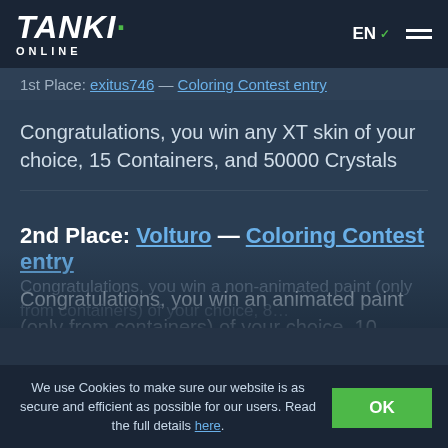TANKI ONLINE — EN — menu
1st Place: exitus746 — Coloring Contest entry
Congratulations, you win any XT skin of your choice, 15 Containers, and 50000 Crystals
2nd Place: Volturo — Coloring Contest entry
Congratulations, you win an animated paint (only from containers) of your choice, 10 Containers, and 40000 Crystals
Congratulations, you win a non-animated paint (only from containers) of your choice, 8...
We use Cookies to make sure our website is as secure and efficient as possible for our users. Read the full details here.